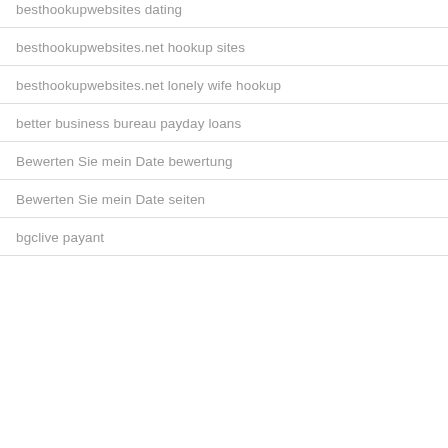besthookupwebsites dating
besthookupwebsites.net hookup sites
besthookupwebsites.net lonely wife hookup
better business bureau payday loans
Bewerten Sie mein Date bewertung
Bewerten Sie mein Date seiten
bgclive payant